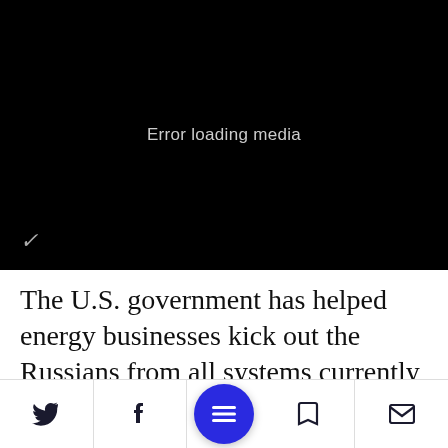[Figure (screenshot): Black video player with 'Error loading media' message in center and a checkmark icon in the bottom-left corner]
The U.S. government has helped energy businesses kick out the Russians from all systems currently known to have been penetrated, according to the officials. The
[Figure (screenshot): Mobile app bottom navigation bar with Twitter, Facebook, hamburger menu (blue circle), bookmark, and email icons]